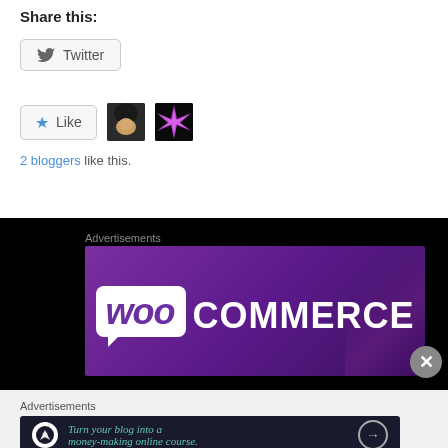Share this:
Twitter
Like
2 bloggers like this.
[Figure (screenshot): WooCommerce advertisement banner on black background]
Advertisements
[Figure (screenshot): Advertisement banner: Turn your blog into a money-making online course.]
Advertisements